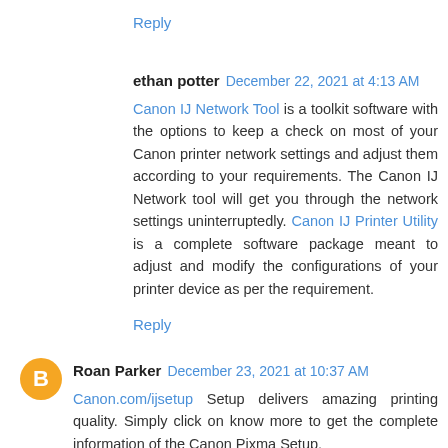Reply
ethan potter  December 22, 2021 at 4:13 AM
Canon IJ Network Tool is a toolkit software with the options to keep a check on most of your Canon printer network settings and adjust them according to your requirements. The Canon IJ Network tool will get you through the network settings uninterruptedly. Canon IJ Printer Utility is a complete software package meant to adjust and modify the configurations of your printer device as per the requirement.
Reply
Roan Parker  December 23, 2021 at 10:37 AM
Canon.com/ijsetup Setup delivers amazing printing quality. Simply click on know more to get the complete information of the Canon Pixma Setup.
Reply